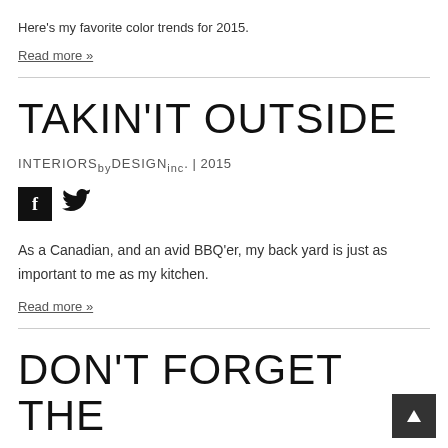Here's my favorite color trends for 2015.
Read more »
TAKIN'IT OUTSIDE
interiorsBYDESIGNinc. | 2015
[Figure (illustration): Facebook and Twitter social media icons]
As a Canadian, and an avid BBQ'er, my back yard is just as important to me as my kitchen.
Read more »
DON'T FORGET THE